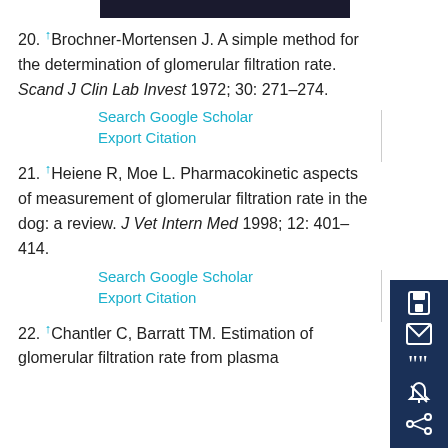20. ↑Brochner-Mortensen J. A simple method for the determination of glomerular filtration rate. Scand J Clin Lab Invest 1972; 30: 271–274.
Search Google Scholar | Export Citation
21. ↑Heiene R, Moe L. Pharmacokinetic aspects of measurement of glomerular filtration rate in the dog: a review. J Vet Intern Med 1998; 12: 401–414.
Search Google Scholar | Export Citation
22. ↑Chantler C, Barratt TM. Estimation of glomerular filtration rate from plasma